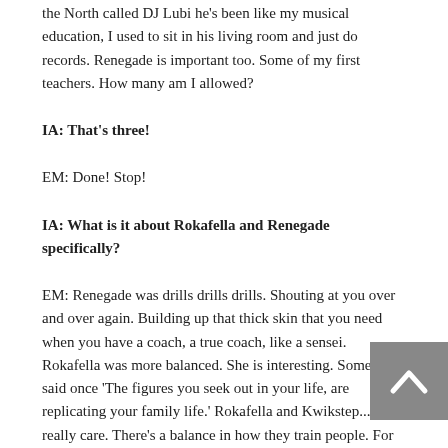the North called DJ Lubi he's been like my musical education, I used to sit in his living room and just do records. Renegade is important too. Some of my first teachers. How many am I allowed?
IA: That's three!
EM: Done! Stop!
IA: What is it about Rokafella and Renegade specifically?
EM: Renegade was drills drills drills. Shouting at you over and over again. Building up that thick skin that you need when you have a coach, a true coach, like a sensei.  Rokafella was more balanced. She is interesting. Someone said once 'The figures you seek out in your life, are replicating your family life.' Rokafella and Kwikstep...they really care. There's a balance in how they train people. For me Rokafella...it was so important to have a female figure in the breaking scene. In a world of many, many men. But also a strong female who was unapologetic who would tell you what she thinks. If she hates something you know. (and she's quite a purist) she